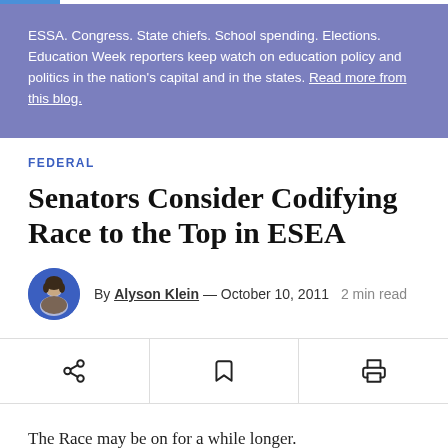ESSA. Congress. State chiefs. School spending. Elections. Education Week reporters keep watch on education policy and politics in the nation's capital and in the states. Read more from this blog.
FEDERAL
Senators Consider Codifying Race to the Top in ESEA
By Alyson Klein — October 10, 2011   2 min read
The Race may be on for a while longer.